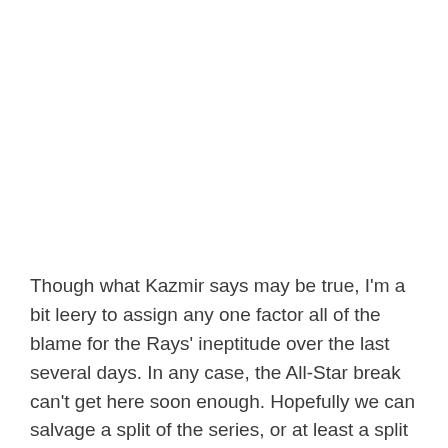Though what Kazmir says may be true, I'm a bit leery to assign any one factor all of the blame for the Rays' ineptitude over the last several days. In any case, the All-Star break can't get here soon enough. Hopefully we can salvage a split of the series, or at least a split of the next two games.